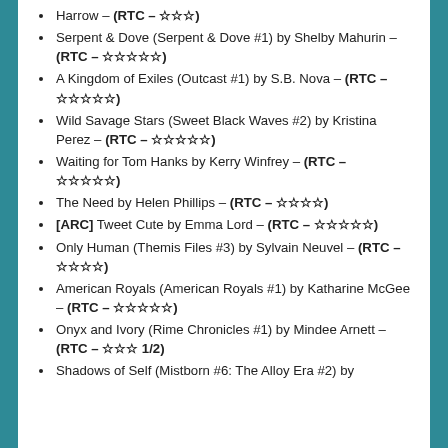Harrow – (RTC – ☆☆☆)
Serpent & Dove (Serpent & Dove #1) by Shelby Mahurin – (RTC – ☆☆☆☆☆)
A Kingdom of Exiles (Outcast #1) by S.B. Nova – (RTC – ☆☆☆☆☆)
Wild Savage Stars (Sweet Black Waves #2) by Kristina Perez – (RTC – ☆☆☆☆☆)
Waiting for Tom Hanks by Kerry Winfrey – (RTC – ☆☆☆☆☆)
The Need by Helen Phillips – (RTC – ☆☆☆☆)
[ARC] Tweet Cute by Emma Lord – (RTC – ☆☆☆☆☆)
Only Human (Themis Files #3) by Sylvain Neuvel – (RTC – ☆☆☆☆)
American Royals (American Royals #1) by Katharine McGee – (RTC – ☆☆☆☆☆)
Onyx and Ivory (Rime Chronicles #1) by Mindee Arnett – (RTC – ☆☆☆ 1/2)
Shadows of Self (Mistborn #6: The Alloy Era #2) by